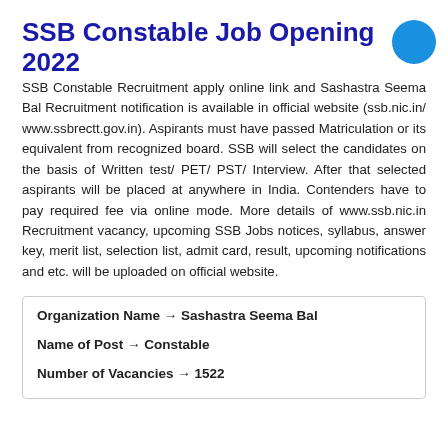SSB Constable Job Opening 2022
SSB Constable Recruitment apply online link and Sashastra Seema Bal Recruitment notification is available in official website (ssb.nic.in/ www.ssbrectt.gov.in). Aspirants must have passed Matriculation or its equivalent from recognized board. SSB will select the candidates on the basis of Written test/ PET/ PST/ Interview. After that selected aspirants will be placed at anywhere in India. Contenders have to pay required fee via online mode. More details of www.ssb.nic.in Recruitment vacancy, upcoming SSB Jobs notices, syllabus, answer key, merit list, selection list, admit card, result, upcoming notifications and etc. will be uploaded on official website.
| Organization Name → | Sashastra Seema Bal |
| Name of Post → | Constable |
| Number of Vacancies → | 1522 |